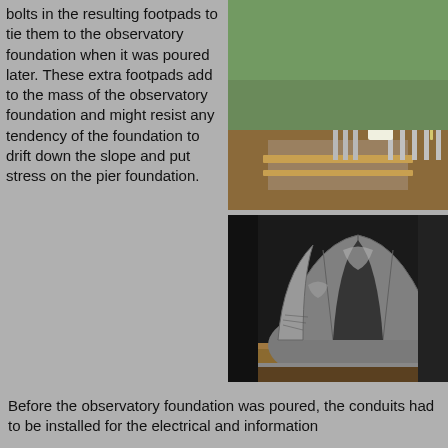bolts in the resulting footpads to tie them to the observatory foundation when it was poured later. These extra footpads add to the mass of the observatory foundation and might resist any tendency of the foundation to drift down the slope and put stress on the pier foundation.
[Figure (photo): Construction site showing workers installing metal posts/bolts in formed footings with gravel and soil, a large white pipe visible, and a person working with measuring equipment.]
[Figure (photo): An observatory dome structure (grey fiberglass or metal) sitting on wooden pallets inside a building, showing the curved dome panels assembled.]
Before the observatory foundation was poured, the conduits had to be installed for the electrical and information